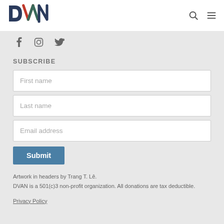DVAN
[Figure (logo): DVAN logo with stylized letters D, V, A, N in dark blue and red/orange/green colors]
f  [Instagram icon]  [Twitter icon]
SUBSCRIBE
First name
Last name
Email address
Submit
Artwork in headers by Trang T. Lê.
DVAN is a 501(c)3 non-profit organization. All donations are tax deductible.
Privacy Policy